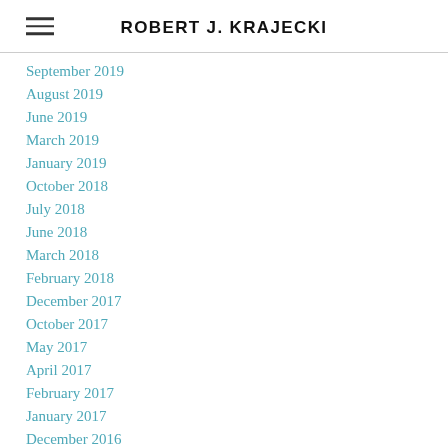ROBERT J. KRAJECKI
September 2019
August 2019
June 2019
March 2019
January 2019
October 2018
July 2018
June 2018
March 2018
February 2018
December 2017
October 2017
May 2017
April 2017
February 2017
January 2017
December 2016